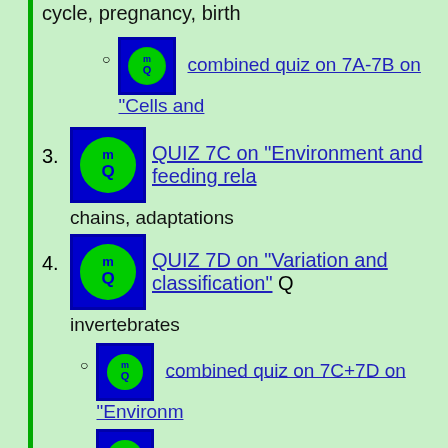cycle, pregnancy, birth
combined quiz on 7A-7B on "Cells and..."
3. QUIZ 7C on "Environment and feeding relationships, chains, adaptations"
4. QUIZ 7D on "Variation and classification" Q... invertebrates
combined quiz on 7C+7D on "Environment..."
combined quiz on 7A to 7D on "Cells,... classification"
5. QUIZ 8A on "Food and digestion" Questions... digestive system, action of acid/alkali/enzymes in break...
6. QUIZ 8B on "Respiration" Questions on link b...